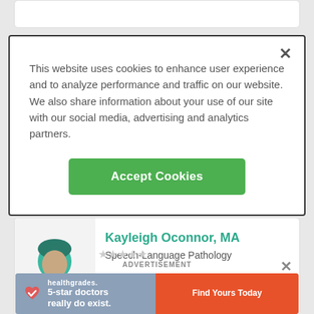This website uses cookies to enhance user experience and to analyze performance and traffic on our website. We also share information about your use of our site with our social media, advertising and analytics partners.
Accept Cookies
Kayleigh Oconnor, MA
Speech-Language Pathology
ADVERTISEMENT
5-star doctors really do exist.
Find Yours Today